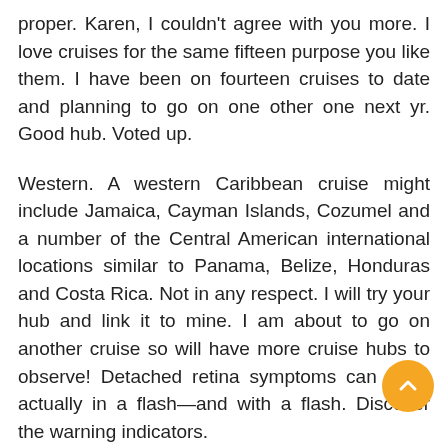proper. Karen, I couldn't agree with you more. I love cruises for the same fifteen purpose you like them. I have been on fourteen cruises to date and planning to go on one other one next yr. Good hub. Voted up.
Western. A western Caribbean cruise might include Jamaica, Cayman Islands, Cozumel and a number of the Central American international locations similar to Panama, Belize, Honduras and Costa Rica. Not in any respect. I will try your hub and link it to mine. I am about to go on another cruise so will have more cruise hubs to observe! Detached retina symptoms can erupt actually in a flash—and with a flash. Discover the warning indicators.
Hello Gail, we normally vacation on our personal or go to Cloverleaf in Canada, however we did vacation in Disneyland Paris last 12 months with our kids